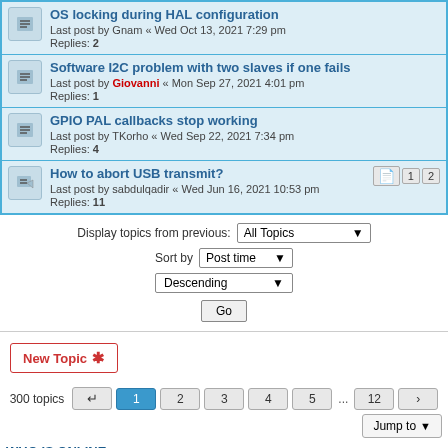OS locking during HAL configuration
Last post by Gnam « Wed Oct 13, 2021 7:29 pm
Replies: 2
Software I2C problem with two slaves if one fails
Last post by Giovanni « Mon Sep 27, 2021 4:01 pm
Replies: 1
GPIO PAL callbacks stop working
Last post by TKorho « Wed Sep 22, 2021 7:34 pm
Replies: 4
How to abort USB transmit?
Last post by sabdulqadir « Wed Jun 16, 2021 10:53 pm
Replies: 11
Display topics from previous: All Topics ▾
Sort by Post time ▾
Descending ▾
Go
New Topic ✱
300 topics  ↩  1  2  3  4  5  ...  12  ›
Jump to
WHO IS ONLINE
Users browsing this forum: No registered users and 2 guests
FORUM PERMISSIONS